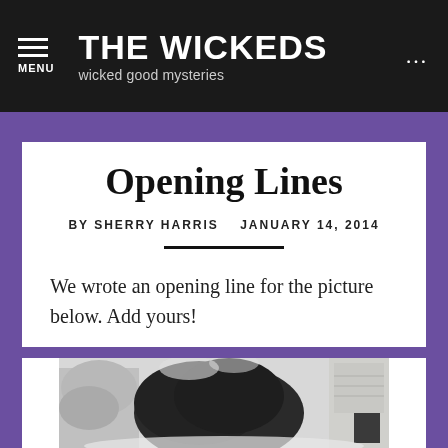THE WICKEDS — wicked good mysteries — MENU
Opening Lines
BY SHERRY HARRIS   JANUARY 14, 2014
We wrote an opening line for the picture below. Add yours!
[Figure (photo): Grayscale photo of a dark bush or shrub covered in snow, with snow-covered trees and a house visible in the background]